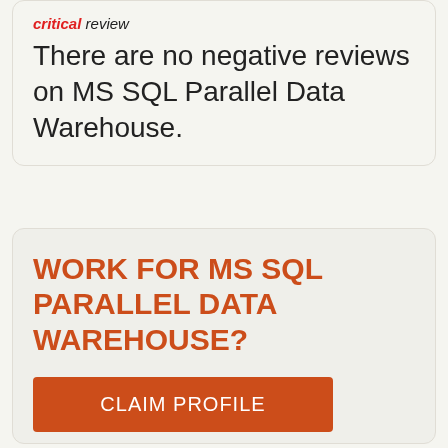critical review
There are no negative reviews on MS SQL Parallel Data Warehouse.
WORK FOR MS SQL PARALLEL DATA WAREHOUSE?
CLAIM PROFILE